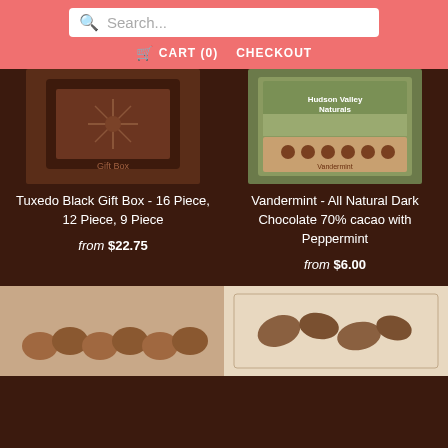Search... | CART (0) | CHECKOUT
[Figure (photo): Tuxedo Black Gift Box product image - dark chocolate gift box with decorative snowflake design]
Tuxedo Black Gift Box - 16 Piece, 12 Piece, 9 Piece
from $22.75
[Figure (photo): Vandermint All Natural Dark Chocolate product image - Hudson Valley Naturals branded box]
Vandermint - All Natural Dark Chocolate 70% cacao with Peppermint
from $6.00
[Figure (photo): Bottom left product image - chocolate truffles or chocolate pieces on light background]
[Figure (photo): Bottom right product image - cacao beans or chocolate pieces on white background]